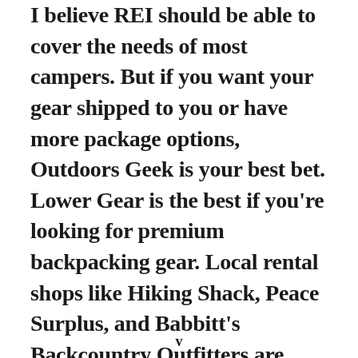I believe REI should be able to cover the needs of most campers. But if you want your gear shipped to you or have more package options, Outdoors Geek is your best bet. Lower Gear is the best if you're looking for premium backpacking gear. Local rental shops like Hiking Shack, Peace Surplus, and Babbitt's Backcountry Outfitters are more budget-friendly, especially for renting a
v